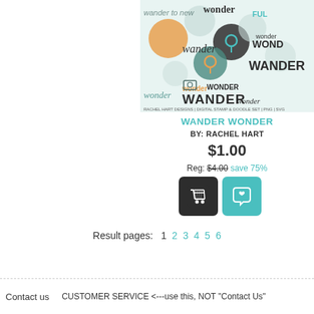[Figure (illustration): Wander Wonder product image showing decorative text and icons with words like wander, wonder, wanderlust in various styles with travel/location icons in teal, orange, and dark colors]
WANDER WONDER
BY: RACHEL HART
$1.00
Reg: $4.00 save 75%
[Figure (other): Add to cart button - dark rounded square with shopping cart icon]
[Figure (other): Wishlist button - teal rounded square with heart/chat icon]
Result pages:  1  2  3  4  5  6
Contact us     CUSTOMER SERVICE <---use this, NOT "Contact Us"